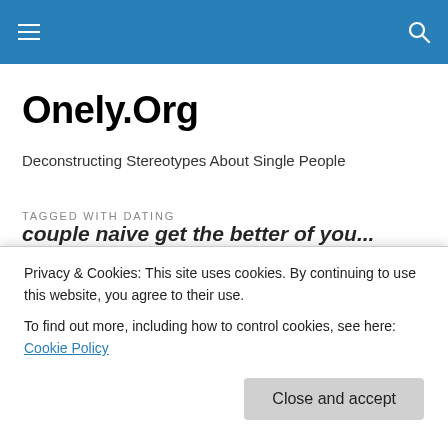Onely.Org navigation bar
Onely.Org
Deconstructing Stereotypes About Single People
TAGGED WITH DATING
What Every Woman Wants?
Serious Readers
Privacy & Cookies: This site uses cookies. By continuing to use this website, you agree to their use. To find out more, including how to control cookies, see here: Cookie Policy
Close and accept
couple naive get the better of you...